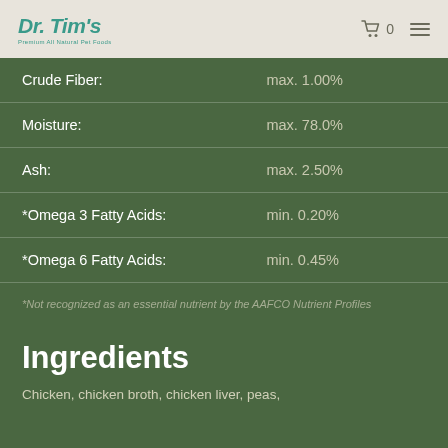Dr. Tim's Premium All Natural Pet Foods
| Nutrient | Amount |
| --- | --- |
| Crude Fiber: | max. 1.00% |
| Moisture: | max. 78.0% |
| Ash: | max. 2.50% |
| *Omega 3 Fatty Acids: | min. 0.20% |
| *Omega 6 Fatty Acids: | min. 0.45% |
*Not recognized as an essential nutrient by the AAFCO Nutrient Profiles
Ingredients
Chicken, chicken broth, chicken liver, peas,